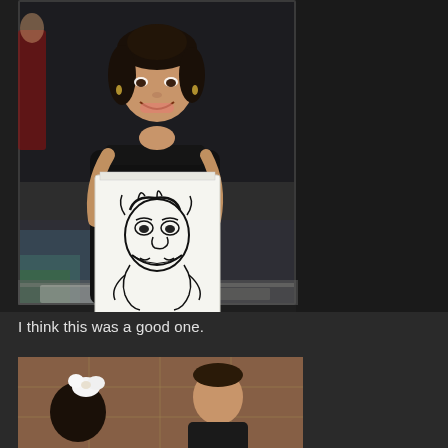[Figure (photo): A young woman in a black strapless dress holds up a caricature drawing of herself, smiling at the camera. The caricature shows an exaggerated portrait style sketch. The background shows an event venue setting.]
I think this was a good one.
[Figure (photo): Partial view of people at an event, showing someone with a white hair accessory from behind and another person partially visible, in a venue with tiled walls.]